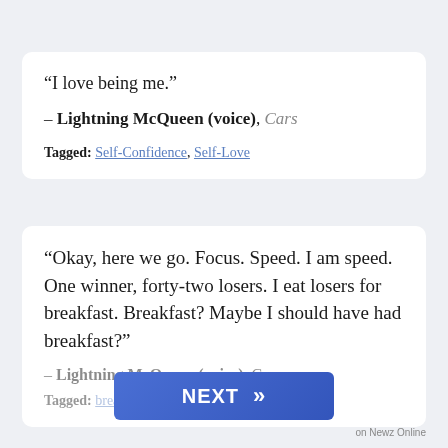“I love being me.”
– Lightning McQueen (voice), Cars
Tagged: Self-Confidence, Self-Love
“Okay, here we go. Focus. Speed. I am speed. One winner, forty-two losers. I eat losers for breakfast. Breakfast? Maybe I should have had breakfast?”
– Lightning McQueen (voice), Cars
Tagged: breakfast...